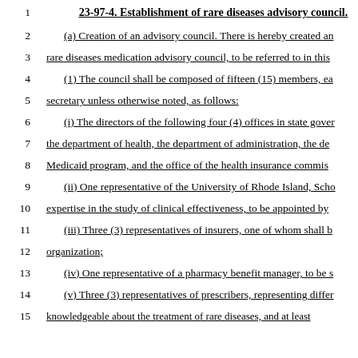23-97-4. Establishment of rare diseases advisory council.
(a) Creation of an advisory council. There is hereby created an
rare diseases medication advisory council, to be referred to in this
(1) The council shall be composed of fifteen (15) members, ea
secretary unless otherwise noted, as follows:
(i) The directors of the following four (4) offices in state gover
the department of health, the department of administration, the de
Medicaid program, and the office of the health insurance commis
(ii) One representative of the University of Rhode Island, Scho
expertise in the study of clinical effectiveness, to be appointed by
(iii) Three (3) representatives of insurers, one of whom shall b
organization;
(iv) One representative of a pharmacy benefit manager, to be s
(v) Three (3) representatives of prescribers, representing differ
knowledgeable about the treatment of rare diseases, and at least